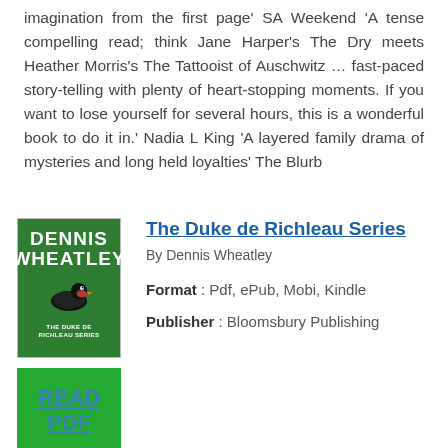imagination from the first page' SA Weekend 'A tense compelling read; think Jane Harper's The Dry meets Heather Morris's The Tattooist of Auschwitz … fast-paced story-telling with plenty of heart-stopping moments. If you want to lose yourself for several hours, this is a wonderful book to do it in.' Nadia L King 'A layered family drama of mysteries and long held loyalties' The Blurb
[Figure (illustration): Book cover for The Duke de Richleau Series by Dennis Wheatley, with green background and duck logo]
The Duke de Richleau Series
By Dennis Wheatley
Format : Pdf, ePub, Mobi, Kindle
Publisher : Bloomsbury Publishing